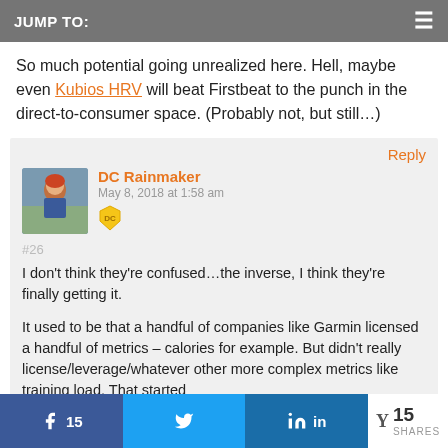JUMP TO:
So much potential going unrealized here. Hell, maybe even Kubios HRV will beat Firstbeat to the punch in the direct-to-consumer space. (Probably not, but still…)
Reply
DC Rainmaker
May 8, 2018 at 1:58 am
#26
I don't think they're confused…the inverse, I think they're finally getting it.

It used to be that a handful of companies like Garmin licensed a handful of metrics – calories for example. But didn't really license/leverage/whatever other more complex metrics like training load. That started
15  [Facebook share]  [Twitter share]  [LinkedIn share]  Y 15 SHARES